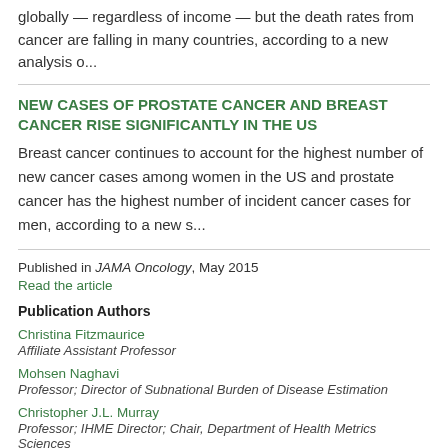globally — regardless of income — but the death rates from cancer are falling in many countries, according to a new analysis o...
NEW CASES OF PROSTATE CANCER AND BREAST CANCER RISE SIGNIFICANTLY IN THE US
Breast cancer continues to account for the highest number of new cancer cases among women in the US and prostate cancer has the highest number of incident cancer cases for men, according to a new s...
Published in JAMA Oncology, May 2015
Read the article
Publication Authors
Christina Fitzmaurice
Affiliate Assistant Professor
Mohsen Naghavi
Professor; Director of Subnational Burden of Disease Estimation
Christopher J.L. Murray
Professor; IHME Director; Chair, Department of Health Metrics Sciences